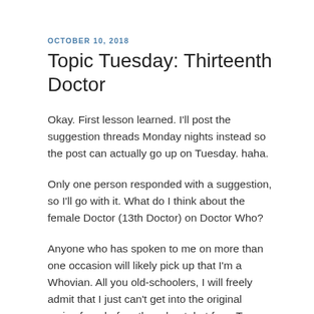OCTOBER 10, 2018
Topic Tuesday: Thirteenth Doctor
Okay. First lesson learned. I'll post the suggestion threads Monday nights instead so the post can actually go up on Tuesday. haha.
Only one person responded with a suggestion, so I'll go with it. What do I think about the female Doctor (13th Doctor) on Doctor Who?
Anyone who has spoken to me on more than one occasion will likely pick up that I'm a Whovian. All you old-schoolers, I will freely admit that I just can't get into the original series from before the reboot, but from Ten onward, call me a fan. I suppose Nine had his moments, but I generally have to tell